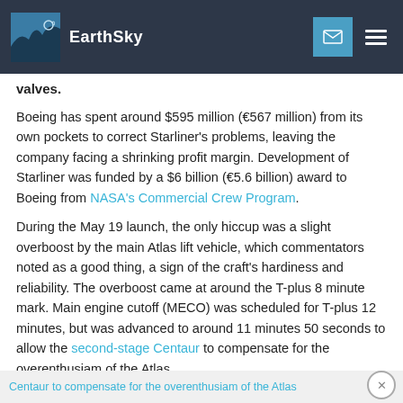EarthSky
valves.
Boeing has spent around $595 million (€567 million) from its own pockets to correct Starliner's problems, leaving the company facing a shrinking profit margin. Development of Starliner was funded by a $6 billion (€5.6 billion) award to Boeing from NASA's Commercial Crew Program.
During the May 19 launch, the only hiccup was a slight overboost by the main Atlas lift vehicle, which commentators noted as a good thing, a sign of the craft's hardiness and reliability. The overboost came at around the T-plus 8 minute mark. Main engine cutoff (MECO) was scheduled for T-plus 12 minutes, but was advanced to around 11 minutes 50 seconds to allow the second-stage Centaur to compensate for the overenthusiam of the Atlas